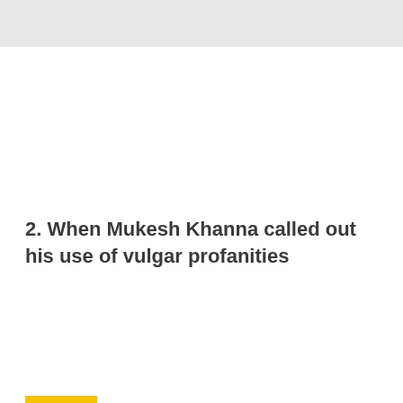2. When Mukesh Khanna called out his use of vulgar profanities